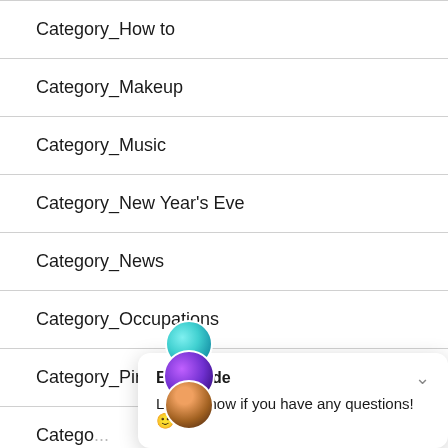Category_How to
Category_Makeup
Category_Music
Category_New Year's Eve
Category_News
Category_Occupations
Category_Pirates
Category_Sc...
[Figure (screenshot): Chat popup overlay with Escapade branding and avatars. Title: Escapade. Message: Let us know if you have any questions!]